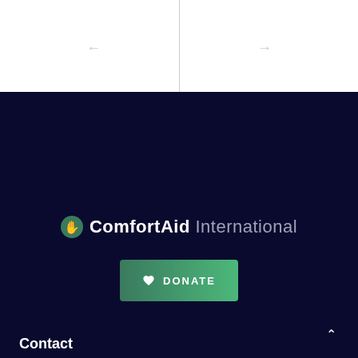[Figure (other): Top white section with left and right navigation arrows separated by a vertical divider]
[Figure (logo): ComfortAid International logo with green circular hand icon, bold 'ComfortAid' and light 'International' text on dark navy background]
[Figure (other): Green gradient DONATE button with heart icon]
Contact
Address
3415 West Lake Mary Blvd. #954152
Lake Mary, FL 32795